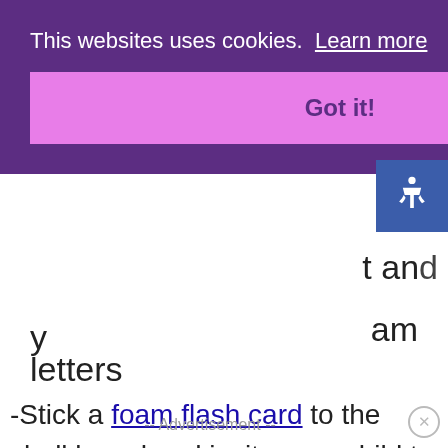This websites uses cookies. Learn more
Got it!
y … t and … am letters
-Stick a foam flash card to the chalkboard and invite your child to copy the word using chalk, wet paintbrush or foam letters
-- Advertisement --